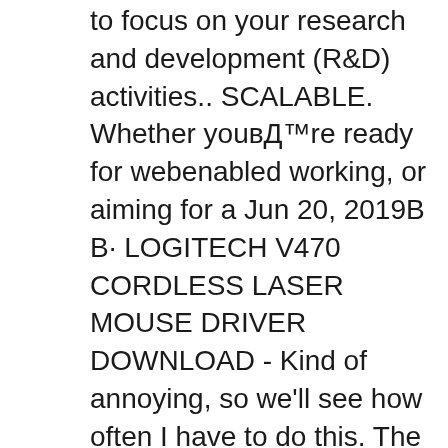to focus on your research and development (R&D) activities.. SCALABLE. Whether youвЂ™re ready for webenabled working, or aiming for a Jun 20, 2019В В· LOGITECH V470 CORDLESS LASER MOUSE DRIVER DOWNLOAD - Kind of annoying, so we'll see how often I have to do this. The V Cordless Laser Mouse for Computers Blue from Logitech is a wireless mouse designed to
Microsoft devices that use this receiver include the Microsoft Wireless Laser Desktop 6000 v2.0, Microsoft Wireless Optical Desktop 700 v2.0 and Microsoft Wireless Laser Mouse 6000 v2.0. The Microsoft USB Wireless Notebook